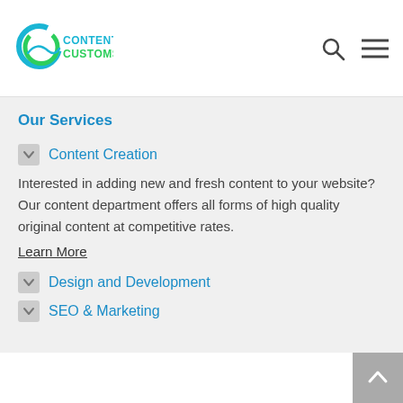[Figure (logo): Content Customs logo with circular blue/green wave design and blue/green text reading CONTENT CUSTOMS]
Our Services
Content Creation
Interested in adding new and fresh content to your website? Our content department offers all forms of high quality original content at competitive rates. Learn More
Design and Development
SEO & Marketing